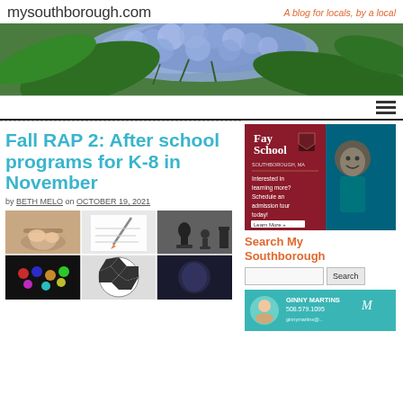mysouthborough.com — A blog for locals, by a local
[Figure (photo): Banner photo of blue hydrangea flowers with green leaves]
Fall RAP 2: After school programs for K-8 in November
by BETH MELO on OCTOBER 19, 2021
[Figure (photo): Collage of after-school activity photos: pottery wheel, drawing/writing, chess pieces, colorful lights/bokeh, soccer ball]
[Figure (photo): Fay School advertisement: Interested in learning more? Schedule an admission tour today! Learn More »]
Search My Southborough
[Figure (photo): Ginny Martins real estate advertisement with photo and contact info 508.579.1095]